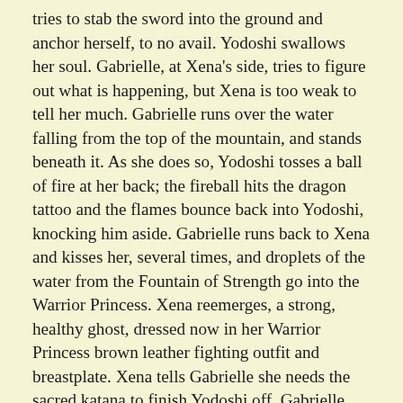tries to stab the sword into the ground and anchor herself, to no avail. Yodoshi swallows her soul. Gabrielle, at Xena's side, tries to figure out what is happening, but Xena is too weak to tell her much. Gabrielle runs over the water falling from the top of the mountain, and stands beneath it. As she does so, Yodoshi tosses a ball of fire at her back; the fireball hits the dragon tattoo and the flames bounce back into Yodoshi, knocking him aside. Gabrielle runs back to Xena and kisses her, several times, and droplets of the water from the Fountain of Strength go into the Warrior Princess. Xena reemerges, a strong, healthy ghost, dressed now in her Warrior Princess brown leather fighting outfit and breastplate. Xena tells Gabrielle she needs the sacred katana to finish Yodoshi off. Gabrielle gives her the sword. Gabrielle says she has to get Xena's ashes, and rushes off.
Xena whirls around and turns into a cloud of fire. Yodoshi does the same. The two fires race